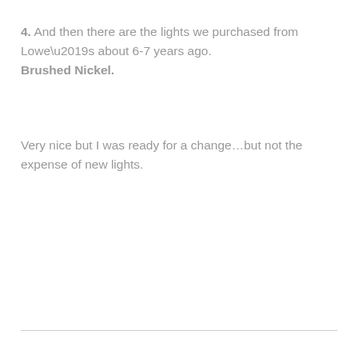4. And then there are the lights we purchased from Lowe’s about 6-7 years ago. Brushed Nickel.
Very nice but I was ready for a change…but not the expense of new lights.